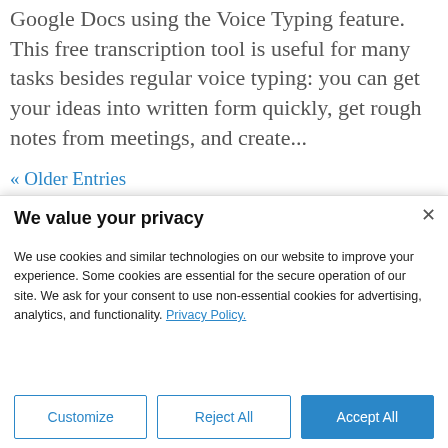Google Docs using the Voice Typing feature. This free transcription tool is useful for many tasks besides regular voice typing: you can get your ideas into written form quickly, get rough notes from meetings, and create...
« Older Entries
We value your privacy
We use cookies and similar technologies on our website to improve your experience. Some cookies are essential for the secure operation of our site. We ask for your consent to use non-essential cookies for advertising, analytics, and functionality. Privacy Policy.
Customize | Reject All | Accept All